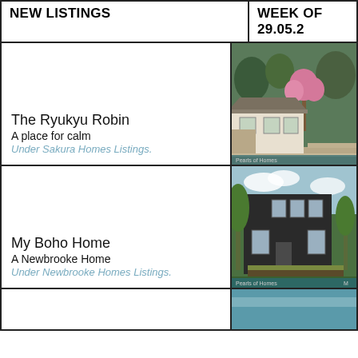| NEW LISTINGS | WEEK OF 29.05.2... |
| --- | --- |
| The Ryukyu Robin
A place for calm
Under Sakura Homes Listings. | [image: Japanese style house with cherry blossom trees] |
| My Boho Home
A Newbrooke Home
Under Newbrooke Homes Listings. | [image: Dark modern house with green trees] |
|  | [image: partial] |